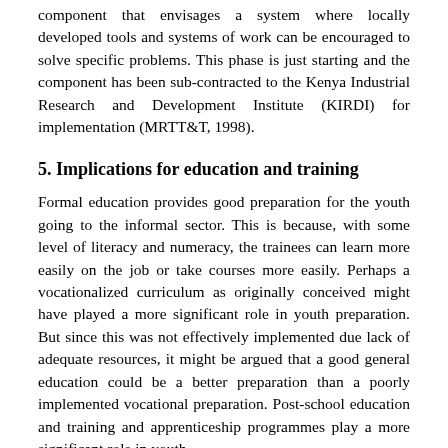component that envisages a system where locally developed tools and systems of work can be encouraged to solve specific problems. This phase is just starting and the component has been sub-contracted to the Kenya Industrial Research and Development Institute (KIRDI) for implementation (MRTT&T, 1998).
5. Implications for education and training
Formal education provides good preparation for the youth going to the informal sector. This is because, with some level of literacy and numeracy, the trainees can learn more easily on the job or take courses more easily. Perhaps a vocationalized curriculum as originally conceived might have played a more significant role in youth preparation. But since this was not effectively implemented due lack of adequate resources, it might be argued that a good general education could be a better preparation than a poorly implemented vocational preparation. Post-school education and training and apprenticeship programmes play a more significant role in youth